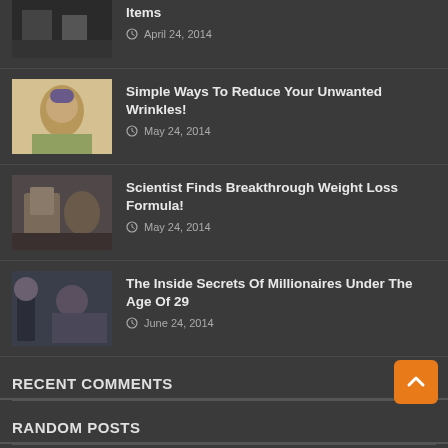Items — April 24, 2014
Simple Ways To Reduce Your Unwanted Wrinkles! — May 24, 2014
Scientist Finds Breakthrough Weight Loss Formula! — May 24, 2014
The Inside Secrets Of Millionaires Under The Age Of 29 — June 24, 2014
Recent Comments
Random Posts
Declare bandits as terrorists, leave separatists